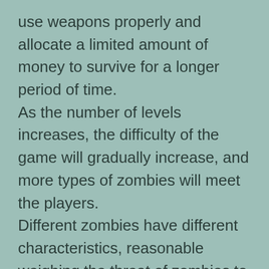use weapons properly and allocate a limited amount of money to survive for a longer period of time. As the number of levels increases, the difficulty of the game will gradually increase, and more types of zombies will meet the players. Different zombies have different characteristics, reasonable weighing the threat of zombies to themselves, attacking the weaknesses of zombies, and choosing the right way to deal with the enemy will be the key to success. There are many levels in the game. Different